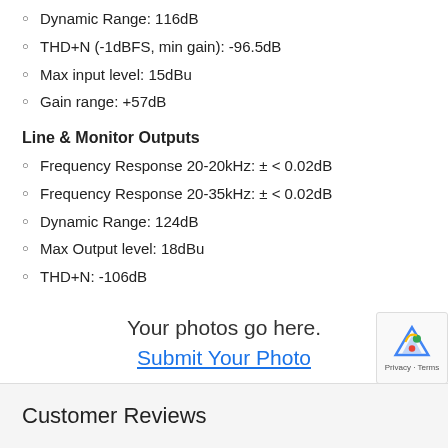Dynamic Range: 116dB
THD+N (-1dBFS, min gain): -96.5dB
Max input level: 15dBu
Gain range: +57dB
Line & Monitor Outputs
Frequency Response 20-20kHz: ± < 0.02dB
Frequency Response 20-35kHz: ± < 0.02dB
Dynamic Range: 124dB
Max Output level: 18dBu
THD+N: -106dB
Your photos go here.
Submit Your Photo
Customer Reviews